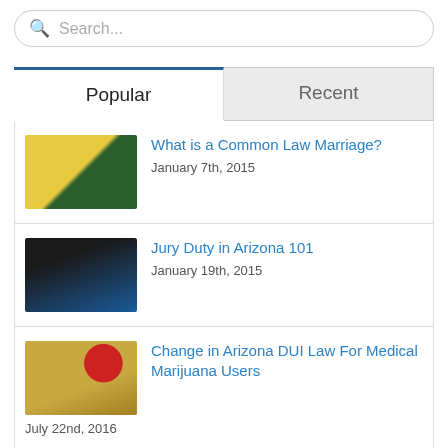Search...
Popular
Recent
What is a Common Law Marriage? | January 7th, 2015
Jury Duty in Arizona 101 | January 19th, 2015
Change in Arizona DUI Law For Medical Marijuana Users | July 22nd, 2016
The Problem with Unmarried Parents Splitting Up!